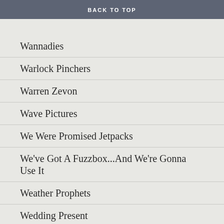Waitones
BACK TO TOP
Wannadies
Warlock Pinchers
Warren Zevon
Wave Pictures
We Were Promised Jetpacks
We've Got A Fuzzbox...And We're Gonna Use It
Weather Prophets
Wedding Present
Wee Cherubs
Weezer
Wendys
Westlife & Mariah Carey